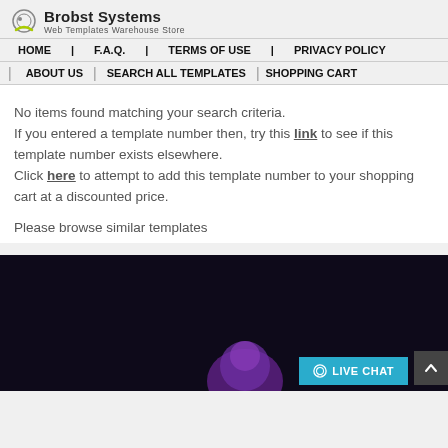Brobst Systems - Web Templates Warehouse Store | HOME | F.A.Q. | TERMS OF USE | PRIVACY POLICY | ABOUT US | SEARCH ALL TEMPLATES | SHOPPING CART
No items found matching your search criteria. If you entered a template number then, try this link to see if this template number exists elsewhere. Click here to attempt to add this template number to your shopping cart at a discounted price.
Please browse similar templates
[Figure (screenshot): Dark purple/black website template preview with a purple orb shape visible at the bottom, and a live chat button overlay at the bottom right]